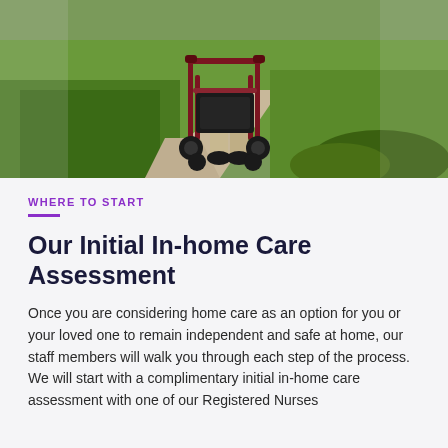[Figure (photo): Person walking outdoors on a sidewalk using a red wheeled rollator walker, with green grass and shrubs visible in the background.]
WHERE TO START
Our Initial In-home Care Assessment
Once you are considering home care as an option for you or your loved one to remain independent and safe at home, our staff members will walk you through each step of the process.  We will start with a complimentary initial in-home care assessment with one of our Registered Nurses